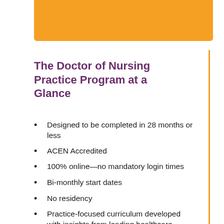[Figure (other): Orange decorative banner bar at the top of the page]
The Doctor of Nursing Practice Program at a Glance
Designed to be completed in 28 months or less
ACEN Accredited
100% online—no mandatory login times
Bi-monthly start dates
No residency
Practice-focused curriculum developed with insights from leading healthcare organizations